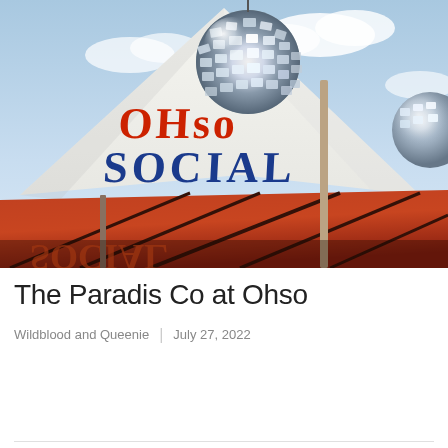[Figure (photo): Outdoor photo showing a white event tent canopy with 'OHSO SOCIAL' printed on it in red and blue letters. A large silver mirror disco ball sits atop the tent peak. Below is an orange/red umbrella canopy. Sky with clouds visible in background. Another partial mirror ball visible at right edge.]
The Paradis Co at Ohso
Wildblood and Queenie | July 27, 2022